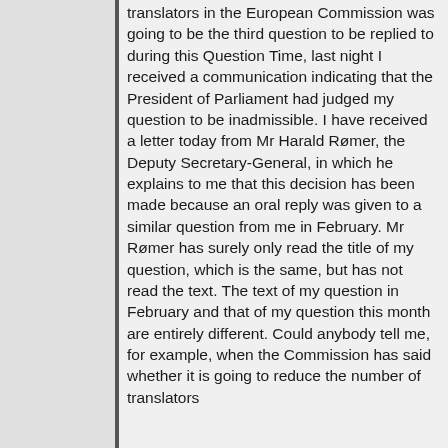translators in the European Commission was going to be the third question to be replied to during this Question Time, last night I received a communication indicating that the President of Parliament had judged my question to be inadmissible. I have received a letter today from Mr Harald Rømer, the Deputy Secretary-General, in which he explains to me that this decision has been made because an oral reply was given to a similar question from me in February. Mr Rømer has surely only read the title of my question, which is the same, but has not read the text. The text of my question in February and that of my question this month are entirely different. Could anybody tell me, for example, when the Commission has said whether it is going to reduce the number of translators